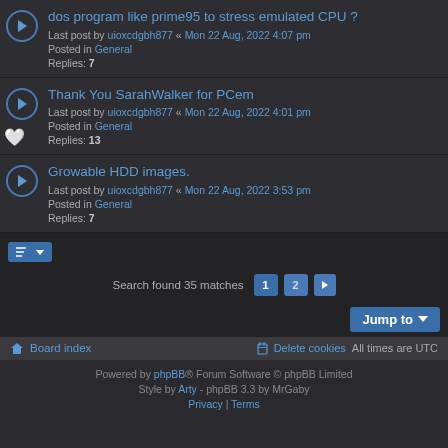dos program like prime95 to stress emulated CPU ? — Last post by uioxcdgbh877 « Mon 22 Aug, 2022 4:07 pm — Posted in General — Replies: 7
Thank You SarahWalker for PCem — Last post by uioxcdgbh877 « Mon 22 Aug, 2022 4:01 pm — Posted in General — Replies: 13
Growable HDD images. — Last post by uioxcdgbh877 « Mon 22 Aug, 2022 3:53 pm — Posted in General — Replies: 7
Search found 35 matches  1  2  >
Jump to
Board index   Delete cookies   All times are UTC
Powered by phpBB® Forum Software © phpBB Limited   Style by Arty - phpBB 3.3 by MrGaby   Privacy | Terms